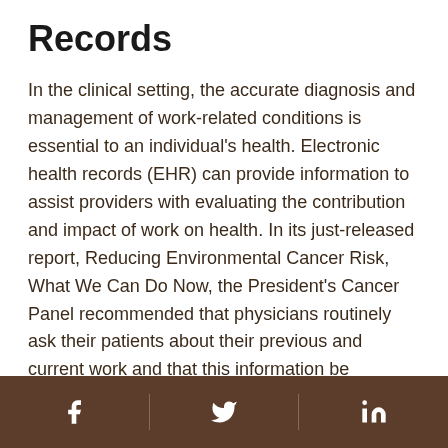Records
In the clinical setting, the accurate diagnosis and management of work-related conditions is essential to an individual's health. Electronic health records (EHR) can provide information to assist providers with evaluating the contribution and impact of work on health. In its just-released report, Reducing Environmental Cancer Risk, What We Can Do Now, the President's Cancer Panel recommended that physicians routinely ask their patients about their previous and current work and that this information be incorporated into the medical record. Programming the EHR to store and display information about a person's job history will facilitate this. Join the NIOSH Science Blog discussion on
Social media icons: Facebook, Twitter, LinkedIn